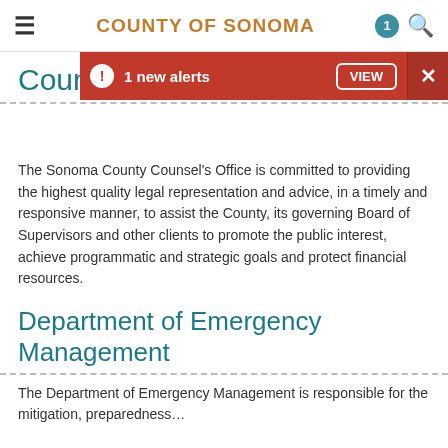COUNTY OF SONOMA
[Figure (screenshot): Alert bar: '1 new alerts' with VIEW button and close X on red background]
County Counsel Department
The Sonoma County Counsel's Office is committed to providing the highest quality legal representation and advice, in a timely and responsive manner, to assist the County, its governing Board of Supervisors and other clients to promote the public interest, achieve programmatic and strategic goals and protect financial resources.
Department of Emergency Management
The Department of Emergency Management is responsible for the mitigation, preparedness…